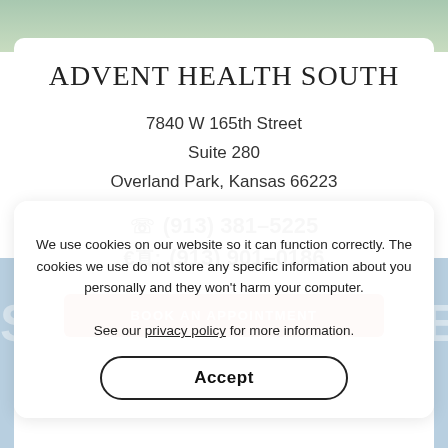ADVENT HEALTH SOUTH
7840 W 165th Street
Suite 280
Overland Park, Kansas 66223
☎ (913) 381–5225
🖨 (913) 901–0186
BOOK AN APPOINTMENT
We use cookies on our website so it can function correctly. The cookies we use do not store any specific information about you personally and they won't harm your computer.

See our privacy policy for more information.
Accept